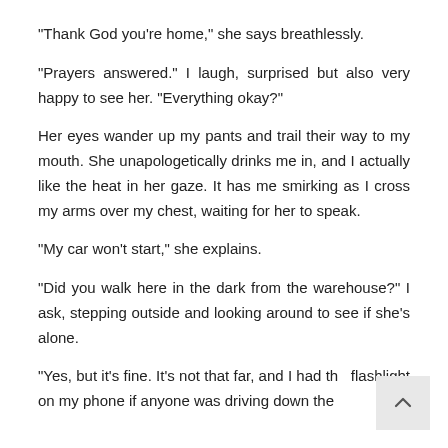"Thank God you're home," she says breathlessly.
"Prayers answered." I laugh, surprised but also very happy to see her. "Everything okay?"
Her eyes wander up my pants and trail their way to my mouth. She unapologetically drinks me in, and I actually like the heat in her gaze. It has me smirking as I cross my arms over my chest, waiting for her to speak.
"My car won't start," she explains.
"Did you walk here in the dark from the warehouse?" I ask, stepping outside and looking around to see if she's alone.
"Yes, but it's fine. It's not that far, and I had the flashlight on my phone if anyone was driving down the